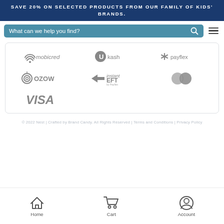SAVE 20% ON SELECTED PRODUCTS FROM OUR FAMILY OF KIDS' BRANDS.
What can we help you find?
[Figure (infographic): Payment method logos in a grid: mobicred, Ukash, payflex, OZOW, instantEFT by Payflex, MasterCard, VISA]
© 2022 Nest | Crafted by Brand Candy. All Rights Reserved | Terms and Conditions | Privacy Policy
Home  Cart  Account